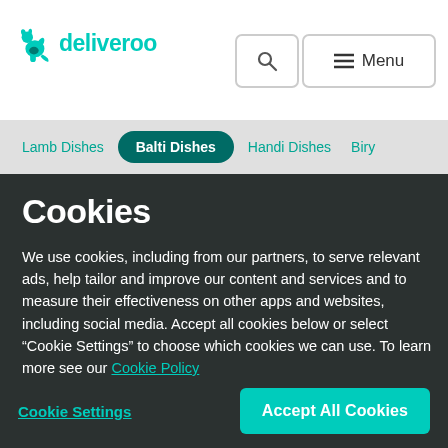[Figure (logo): Deliveroo logo with kangaroo icon and wordmark in teal]
Deliveroo header navigation with search and menu buttons
Lamb Dishes   Balti Dishes   Handi Dishes   Biry
Cookies
We use cookies, including from our partners, to serve relevant ads, help tailor and improve our content and services and to measure their effectiveness on other apps and websites, including social media. Accept all cookies below or select “Cookie Settings” to choose which cookies we can use. To learn more see our Cookie Policy
Cookie Settings
Accept All Cookies